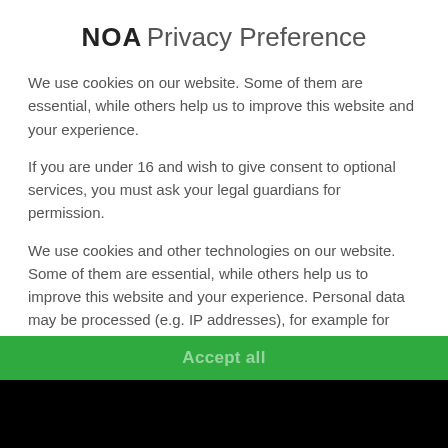NOA Privacy Preference
We use cookies on our website. Some of them are essential, while others help us to improve this website and your experience.
If you are under 16 and wish to give consent to optional services, you must ask your legal guardians for permission.
We use cookies and other technologies on our website. Some of them are essential, while others help us to improve this website and your experience. Personal data may be processed (e.g. IP addresses), for example for personalized ads and content or ad and content measurement. You can find more information about the
Essential
External Media